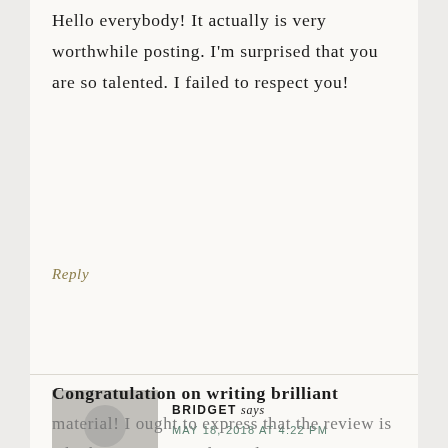Hello everybody! It actually is very worthwhile posting. I'm surprised that you are so talented. I failed to respect you!
Reply
[Figure (illustration): Generic grey avatar placeholder image showing a silhouette of a person with a circular head and body shape on a light grey background]
BRIDGET says
MAY 18, 2018 AT 4:22 PM
Congratulation on writing brilliant material! I ought to express that the review is a high premium articles and